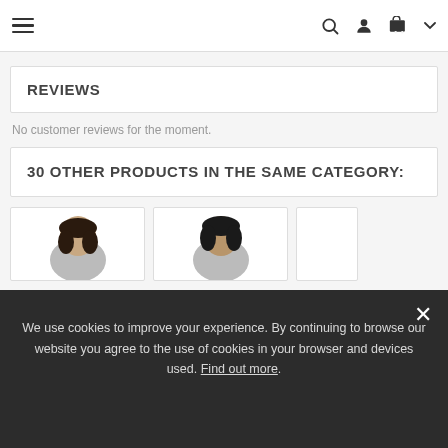≡  🔍 👤 🛒 ▾
REVIEWS
No customer reviews for the moment.
30 OTHER PRODUCTS IN THE SAME CATEGORY:
[Figure (photo): Two product thumbnail cards showing partial head/face images of models]
We use cookies to improve your experience. By continuing to browse our website you agree to the use of cookies in your browser and devices used. Find out more.